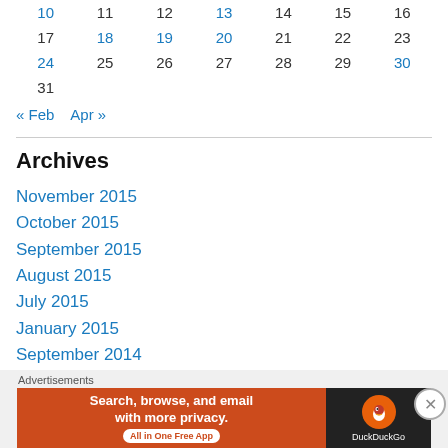| 10 | 11 | 12 | 13 | 14 | 15 | 16 |
| 17 | 18 | 19 | 20 | 21 | 22 | 23 |
| 24 | 25 | 26 | 27 | 28 | 29 | 30 |
| 31 |  |  |  |  |  |  |
« Feb   Apr »
Archives
November 2015
October 2015
September 2015
August 2015
July 2015
January 2015
September 2014
June 2014
Advertisements
[Figure (screenshot): DuckDuckGo advertisement banner: orange background with text 'Search, browse, and email with more privacy. All in One Free App' and DuckDuckGo logo on dark background]